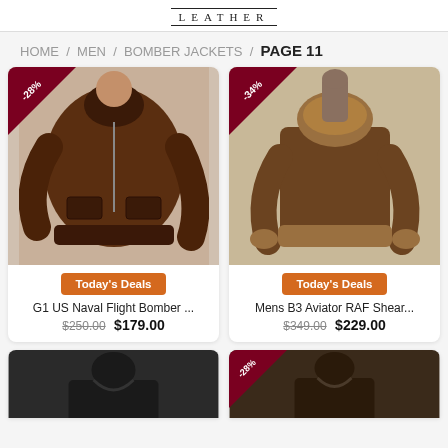LEATHER
HOME / MEN / BOMBER JACKETS / PAGE 11
[Figure (photo): G1 US Naval Flight Bomber jacket, dark brown leather, with -28% discount badge. Today's Deals button. Price: $250.00 $179.00]
[Figure (photo): Mens B3 Aviator RAF Shearling jacket, brown, with -34% discount badge. Today's Deals button. Price: $349.00 $229.00]
[Figure (photo): Partial product image bottom left, black jacket]
[Figure (photo): Partial product image bottom right, dark jacket with -28% discount badge]